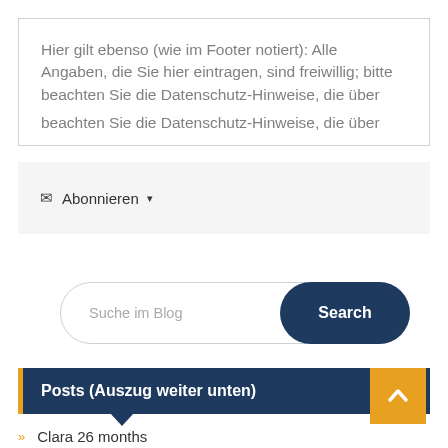Hier gilt ebenso (wie im Footer notiert): Alle Angaben, die Sie hier eintragen, sind freiwillig; bitte beachten Sie die Datenschutz-Hinweise, die über
✉ Abonnieren ▾
Suche im Blog
Posts (Auszug weiter unten)
» Clara 26 months